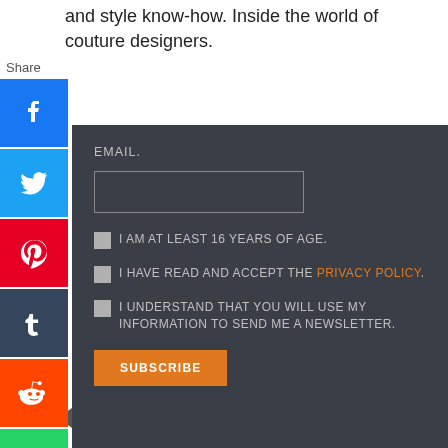and style know-how. Inside the world of couture designers.
[Figure (infographic): Social media share buttons sidebar: Share label, then icons for Facebook, Twitter, Pinterest, Tumblr, Reddit, WhatsApp, with a left-pointing arrow triangle below]
EMAIL.
[Figure (other): Empty email input text field]
I AM AT LEAST 16 YEARS OF AGE.
I HAVE READ AND ACCEPT THE PRIVACY POLICY.
I UNDERSTAND THAT YOU WILL USE MY INFORMATION TO SEND ME A NEWSLETTER.
SUBSCRIBE